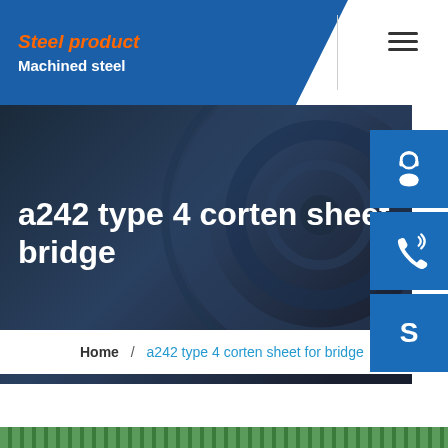Steel product / Machined steel
a242 type 4 corten sheet bridge
[Figure (screenshot): Sidebar icons: customer service headset icon, phone/call icon, and Skype icon, each in blue square buttons]
Home / a242 type 4 corten sheet for bridge
[Figure (photo): Bottom green metallic strip/texture at the bottom of the page]